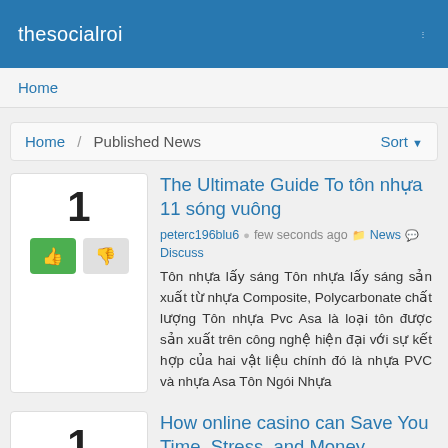thesocialroi
Home
Home / Published News  Sort
The Ultimate Guide To tôn nhựa 11 sóng vuông
peterc196blu6  few seconds ago  News  Discuss
Tôn nhựa lấy sáng Tôn nhựa lấy sáng sản xuất từ nhựa Composite, Polycarbonate chất lượng Tôn nhựa Pvc Asa là loại tôn được sản xuất trên công nghệ hiện đại với sự kết hợp của hai vật liệu chính đó là nhựa PVC và nhựa Asa Tôn Ngói Nhựa
How online casino can Save You Time, Stress, and Money.